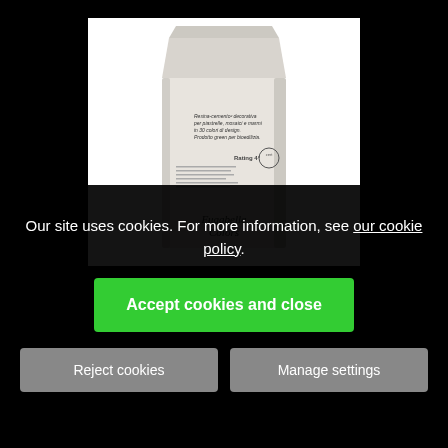[Figure (photo): Product image of a light grey bag/package of decorative resin-cement grout product (Fugabella Colors). The bag shows Italian text describing it as a decorative resin-cement product for tiles, mosaics and marbles in 30 design colors, a green product for bio-building. Shows 'Rating 4' certification. Brand name 'Fugabella Colors' visible at bottom of bag.]
Our site uses cookies. For more information, see our cookie policy.
Accept cookies and close
Reject cookies
Manage settings